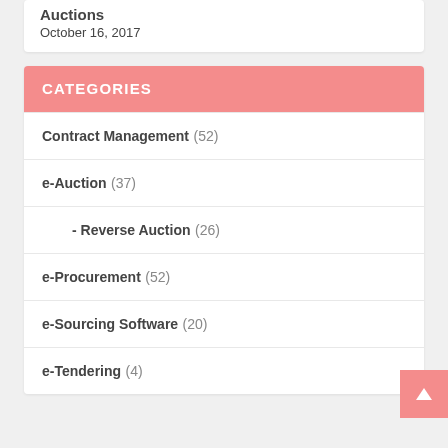Auctions
October 16, 2017
CATEGORIES
Contract Management (52)
e-Auction (37)
- Reverse Auction (26)
e-Procurement (52)
e-Sourcing Software (20)
e-Tendering (4)